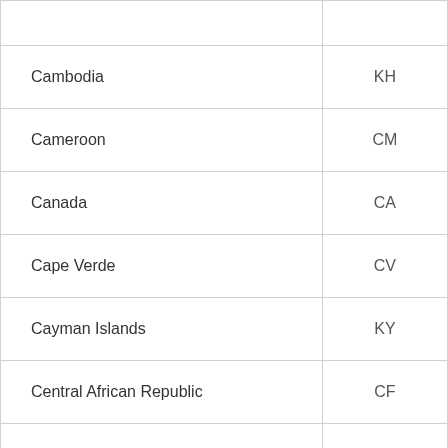| Cambodia | KH |
| Cameroon | CM |
| Canada | CA |
| Cape Verde | CV |
| Cayman Islands | KY |
| Central African Republic | CF |
| Chad | TD |